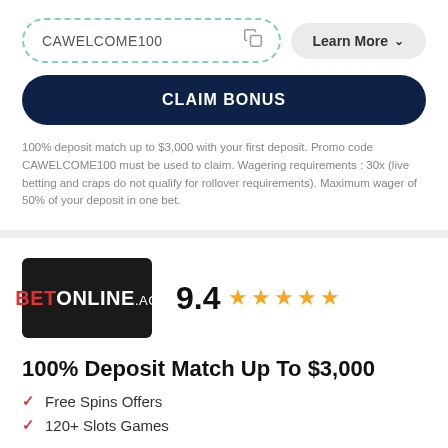CAWELCOME100
Learn More
CLAIM BONUS
100% deposit match up to $3,000 with your first deposit. Promo code CAWELCOME100 must be used to claim. Wagering requirements : 30x (live betting and craps do not qualify for rollover requirements). Maximum wager of 50% of your deposit in one bet.
[Figure (logo): BetOnline.ag logo — dark background with BET in red and ONLINE.AG in white]
9.4 ★★★★★
100% Deposit Match Up To $3,000
Free Spins Offers
120+ Slots Games